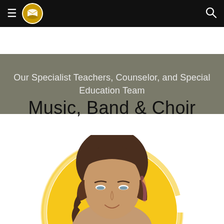Navigation bar with menu icon, school logo, and search icon
Our Specialist Teachers, Counselor, and Special Education Team
Music, Band & Choir
[Figure (photo): Photo of a female teacher with curly hair, set against a yellow painted circle background]